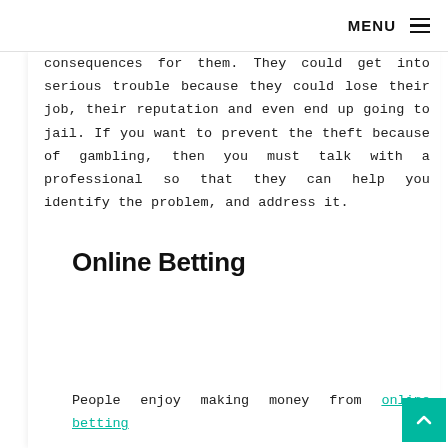MENU
consequences for them. They could get into serious trouble because they could lose their job, their reputation and even end up going to jail. If you want to prevent the theft because of gambling, then you must talk with a professional so that they can help you identify the problem, and address it.
Online Betting
People enjoy making money from online betting
There are a number of different …